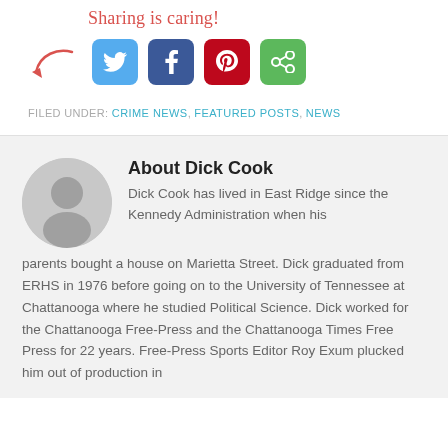[Figure (infographic): Sharing is caring text with social share buttons for Twitter, Facebook, Pinterest, and a share/copy button, with a red arrow pointing to them]
FILED UNDER: CRIME NEWS, FEATURED POSTS, NEWS
About Dick Cook
Dick Cook has lived in East Ridge since the Kennedy Administration when his parents bought a house on Marietta Street. Dick graduated from ERHS in 1976 before going on to the University of Tennessee at Chattanooga where he studied Political Science. Dick worked for the Chattanooga Free-Press and the Chattanooga Times Free Press for 22 years. Free-Press Sports Editor Roy Exum plucked him out of production in